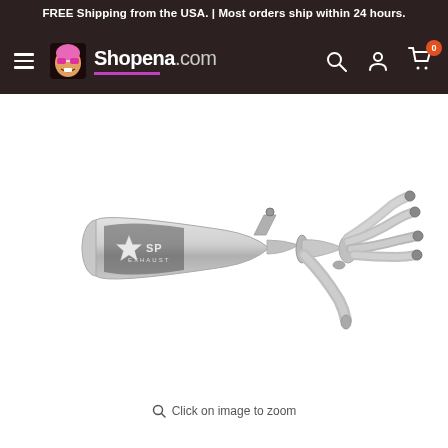FREE Shipping from the USA. | Most orders ship within 24 hours.
Shopena.com — navigation bar with hamburger menu, logo, search, account, and cart icons
[Figure (photo): Motorcycle full exhaust system with stainless steel headers and muffler bearing a brand logo (stylized bolt/star mark with 'SP' text). Four header pipes converge into a single slip-on canister muffler. Product shown on white background.]
Click on image to zoom